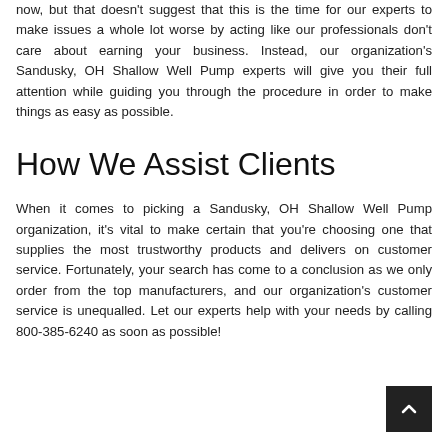now, but that doesn't suggest that this is the time for our experts to make issues a whole lot worse by acting like our professionals don't care about earning your business. Instead, our organization's Sandusky, OH Shallow Well Pump experts will give you their full attention while guiding you through the procedure in order to make things as easy as possible.
How We Assist Clients
When it comes to picking a Sandusky, OH Shallow Well Pump organization, it's vital to make certain that you're choosing one that supplies the most trustworthy products and delivers on customer service. Fortunately, your search has come to a conclusion as we only order from the top manufacturers, and our organization's customer service is unequalled. Let our experts help with your needs by calling 800-385-6240 as soon as possible!